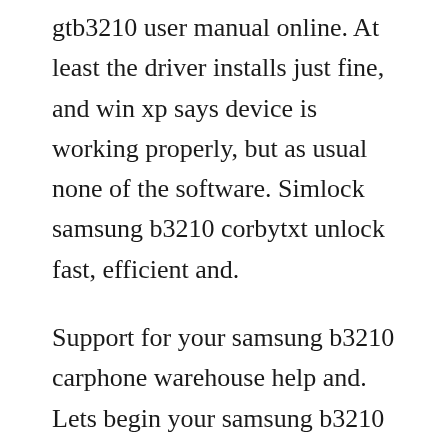gtb3210 user manual online. At least the driver installs just fine, and win xp says device is working properly, but as usual none of the software. Simlock samsung b3210 corbytxt unlock fast, efficient and.
Support for your samsung b3210 carphone warehouse help and. Lets begin your samsung b3210 unlocking process by filling out the information below. Software adjustments test cable gh3901290a test jig gh9936900a rf test. Samsung mobile, a part of south koreas samsung group, is the biggest smartphone